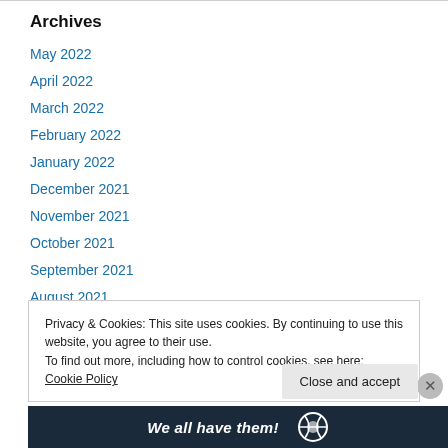Archives
May 2022
April 2022
March 2022
February 2022
January 2022
December 2021
November 2021
October 2021
September 2021
August 2021
Privacy & Cookies: This site uses cookies. By continuing to use this website, you agree to their use. To find out more, including how to control cookies, see here: Cookie Policy
Close and accept
[Figure (other): Footer banner with text 'We all have them!' and a logo]